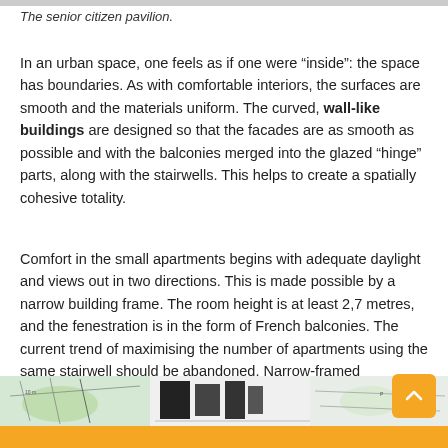The senior citizen pavilion.
In an urban space, one feels as if one were “inside”: the space has boundaries. As with comfortable interiors, the surfaces are smooth and the materials uniform. The curved, wall-like buildings are designed so that the facades are as smooth as possible and with the balconies merged into the glazed “hinge” parts, along with the stairwells. This helps to create a spatially cohesive totality.
Comfort in the small apartments begins with adequate daylight and views out in two directions. This is made possible by a narrow building frame. The room height is at least 2,7 metres, and the fenestration is in the form of French balconies. The current trend of maximising the number of apartments using the same stairwell should be abandoned. Narrow-framed residential buildings were constructed in post-war Finland, so why would that not be possible today?
[Figure (photo): Architectural floor plan or map visible at the bottom of the page]